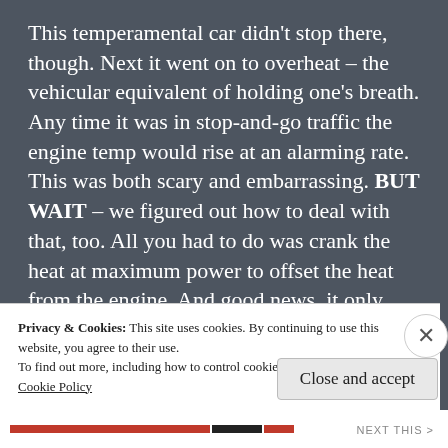This temperamental car didn't stop there, though. Next it went on to overheat – the vehicular equivalent of holding one's breath. Any time it was in stop-and-go traffic the engine temp would rise at an alarming rate. This was both scary and embarrassing. BUT WAIT – we figured out how to deal with that, too. All you had to do was crank the heat at maximum power to offset the heat from the engine. And good news, it only overheated in the summer so you were already dressed for the
Privacy & Cookies: This site uses cookies. By continuing to use this website, you agree to their use.
To find out more, including how to control cookies, see here:
Cookie Policy
Close and accept